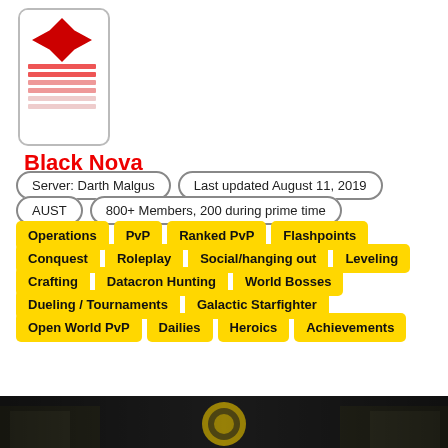[Figure (logo): Guild logo with red arrow/wings icon and red horizontal stripes, inside a rounded white box]
Black Nova
Server: Darth Malgus
Last updated August 11, 2019
AUST
800+ Members, 200 during prime time
Operations
PvP
Ranked PvP
Flashpoints
Conquest
Roleplay
Social/hanging out
Leveling
Crafting
Datacron Hunting
World Bosses
Dueling / Tournaments
Galactic Starfighter
Open World PvP
Dailies
Heroics
Achievements
[Figure (photo): Dark banner image with warriors/soldiers and a yellow circular emblem in the center]